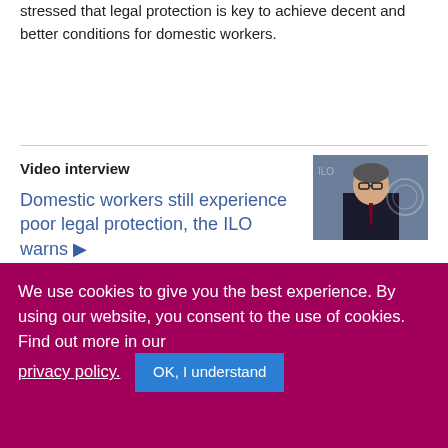stressed that legal protection is key to achieve decent and better conditions for domestic workers.
Video interview
[Figure (photo): Man in suit and glasses speaking at an ILO press conference, ILO logo visible in background]
Domestic workers still experience poor legal protection, the ILO warns ▶
09 January 2013
ILO's Martin Oelz, Legal Specialist on Working Conditions, presents the key findings of a new ILO report - Domestic workers across the world - which follows the adoption, in June 2011, of the ILO Convention and Recommendation on
We use cookies to give you the best experience. By using our website, you consent to the use of cookies. Find out more in our privacy policy.
OK, I understand